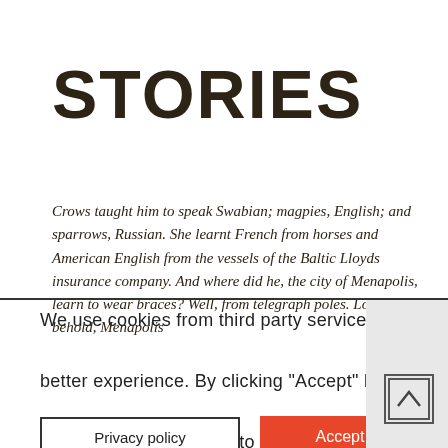STORIES
Crows taught him to speak Swabian; magpies, English; and sparrows, Russian. She learnt French from horses and American English from the vessels of the Baltic Lloyds insurance company. And where did he, the city of Menapolis, learn to wear braces? Well, from telegraph poles. Lo and behold, Menapolis
We use cookies from third party services to offer you a better experience. By clicking "Accept" button or using our services, you agree to our use of cookies. Read more